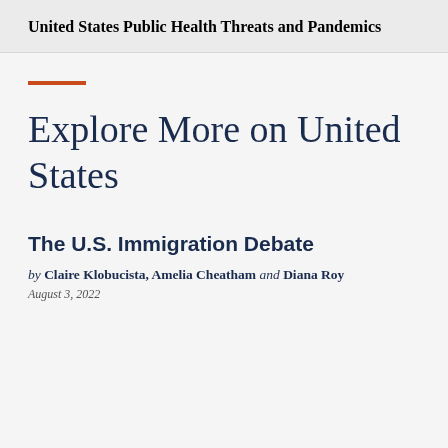United States
Public Health Threats and Pandemics
Explore More on United States
The U.S. Immigration Debate
by Claire Klobucista, Amelia Cheatham and Diana Roy
August 3, 2022